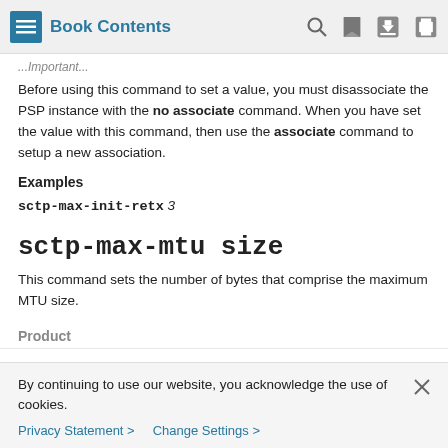Book Contents
...Important...
Before using this command to set a value, you must disassociate the PSP instance with the no associate command. When you have set the value with this command, then use the associate command to setup a new association.
Examples
sctp-max-init-retx  3
sctp-max-mtu size
This command sets the number of bytes that comprise the maximum MTU size.
Product
By continuing to use our website, you acknowledge the use of cookies.
Privacy Statement > Change Settings >